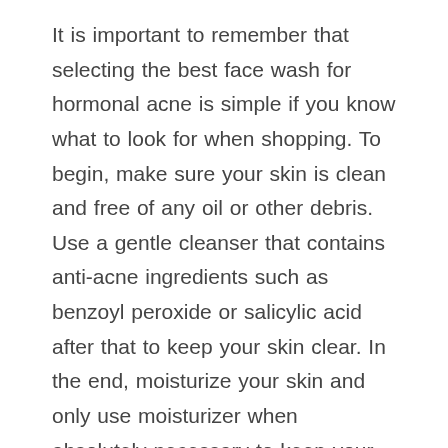It is important to remember that selecting the best face wash for hormonal acne is simple if you know what to look for when shopping. To begin, make sure your skin is clean and free of any oil or other debris. Use a gentle cleanser that contains anti-acne ingredients such as benzoyl peroxide or salicylic acid after that to keep your skin clear. In the end, moisturize your skin and only use moisturizer when absolutely necessary to keep your skin from drying out.
If you have tried nearly everything available and are still experiencing breakouts, you may want to consider using a facial scrub that contains natural ingredients such as green tea and aloe vera to treat acne. Because these natural ingredients have the ability to detoxify the body of unwanted toxins